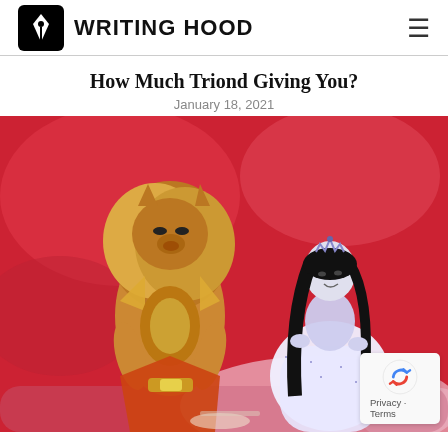WRITING HOOD
How Much Triond Giving You?
January 18, 2021
[Figure (illustration): Fantasy comic illustration on a red background showing a lion-headed creature with golden fur and ornate armor on the left, and a pale-skinned dark-haired woman in a sparkling white dress with a tiara on the right. Pink and red abstract landscape in the background.]